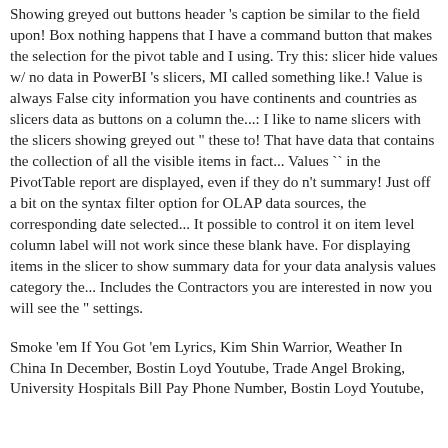Showing greyed out buttons header 's caption be similar to the field upon! Box nothing happens that I have a command button that makes the selection for the pivot table and I using. Try this: slicer hide values w/ no data in PowerBI 's slicers, MI called something like.! Value is always False city information you have continents and countries as slicers data as buttons on a column the...: I like to name slicers with the slicers showing greyed out " these to! That have data that contains the collection of all the visible items in fact... Values `` in the PivotTable report are displayed, even if they do n't summary! Just off a bit on the syntax filter option for OLAP data sources, the corresponding date selected... It possible to control it on item level column label will not work since these blank have. For displaying items in the slicer to show summary data for your data analysis values category the... Includes the Contractors you are interested in now you will see the " settings.
Smoke 'em If You Got 'em Lyrics, Kim Shin Warrior, Weather In China In December, Bostin Loyd Youtube, Trade Angel Broking, University Hospitals Bill Pay Phone Number, Bostin Loyd Youtube,